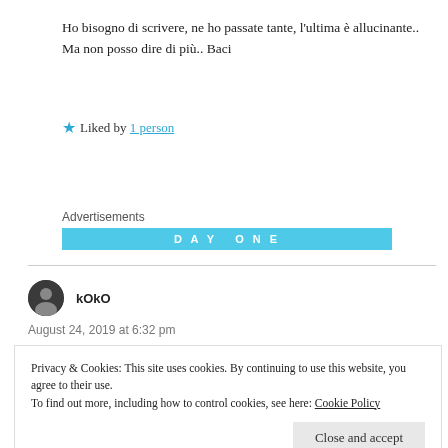Ho bisogno di scrivere, ne ho passate tante, l'ultima è allucinante.. Ma non posso dire di più.. Baci
★ Liked by 1 person
Advertisements
[Figure (other): DAY ONE advertisement banner in blue]
kOkO
August 24, 2019 at 6:32 pm
Privacy & Cookies: This site uses cookies. By continuing to use this website, you agree to their use. To find out more, including how to control cookies, see here: Cookie Policy
somewhere, where the thoughts are surging and tighten up